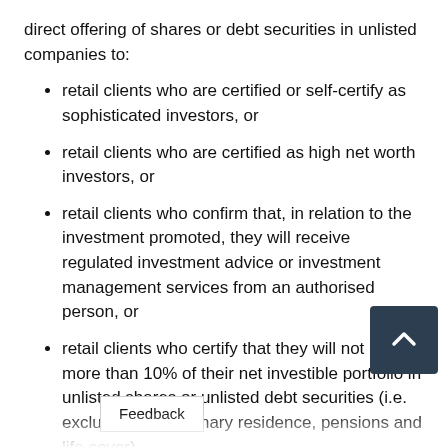direct offering of shares or debt securities in unlisted companies to:
retail clients who are certified or self-certify as sophisticated investors, or
retail clients who are certified as high net worth investors, or
retail clients who confirm that, in relation to the investment promoted, they will receive regulated investment advice or investment management services from an authorised person, or
retail clients who certify that they will not invest more than 10% of their net investible portfolio in unlisted shares or unlisted debt securities (i.e. excluding their primary residence, pensions and life cover)
Where advice is not provided, the FCA will expect firms to apply an appropriateness test before selling promot[ed products] for unlisted equity or debt securities. This is to ens[ure that] only t[hose] ho have the knowledge or experience to un[derstand the risks] can invest.